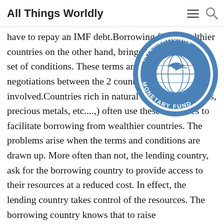All Things Worldly
[Figure (logo): International Monetary Fund (IMF) circular blue logo with globe and olive branch]
stopped, basically ruining all countries essentially have to repay an IMF debt.Borrowing from wealthier countries on the other hand, brings an entirely new set of conditions. These terms are often the result of negotiations between the 2 countries involved.Countries rich in natural resources (Oil, gas, precious metals, etc....,) often use these resources to facilitate borrowing from wealthier countries. The problems arise when the terms and conditions are drawn up. More often than not, the lending country, ask for the borrowing country to provide access to their resources at a reduced cost. In effect, the lending country takes control of the resources. The borrowing country knows that to raise